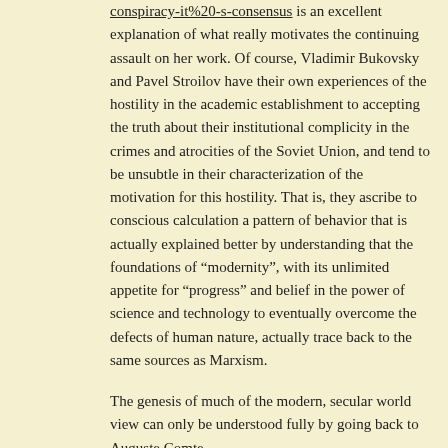conspiracy-it%20-s-consensus is an excellent explanation of what really motivates the continuing assault on her work. Of course, Vladimir Bukovsky and Pavel Stroilov have their own experiences of the hostility in the academic establishment to accepting the truth about their institutional complicity in the crimes and atrocities of the Soviet Union, and tend to be unsubtle in their characterization of the motivation for this hostility. That is, they ascribe to conscious calculation a pattern of behavior that is actually explained better by understanding that the foundations of “modernity”, with its unlimited appetite for “progress” and belief in the power of science and technology to eventually overcome the defects of human nature, actually trace back to the same sources as Marxism.
The genesis of much of the modern, secular world view can only be understood fully by going back to Auguste Comte (http://plato.stanford.edu/entries/comte/ can be considered a neutral-positive introduction) and understanding the profound impact his program for eventually abolishing all supernatural ideation from Western Civilization (beginning with Christianity, of